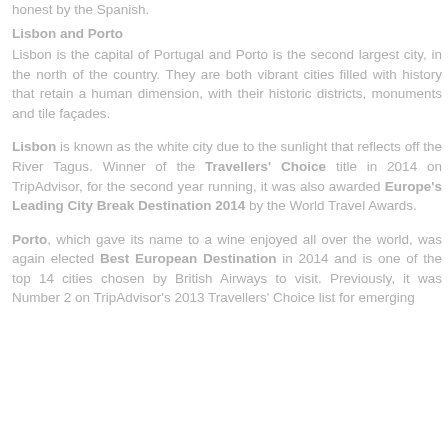honest by the Spanish.
Lisbon and Porto
Lisbon is the capital of Portugal and Porto is the second largest city, in the north of the country. They are both vibrant cities filled with history that retain a human dimension, with their historic districts, monuments and tile façades.
Lisbon is known as the white city due to the sunlight that reflects off the River Tagus. Winner of the Travellers' Choice title in 2014 on TripAdvisor, for the second year running, it was also awarded Europe's Leading City Break Destination 2014 by the World Travel Awards.
Porto, which gave its name to a wine enjoyed all over the world, was again elected Best European Destination in 2014 and is one of the top 14 cities chosen by British Airways to visit. Previously, it was Number 2 on TripAdvisor's 2013 Travellers' Choice list for emerging